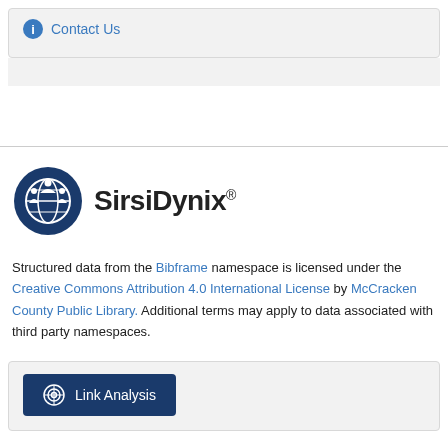ⓘ Contact Us
[Figure (logo): SirsiDynix logo with globe and people icon and SirsiDynix® text]
Structured data from the Bibframe namespace is licensed under the Creative Commons Attribution 4.0 International License by McCracken County Public Library. Additional terms may apply to data associated with third party namespaces.
Link Analysis